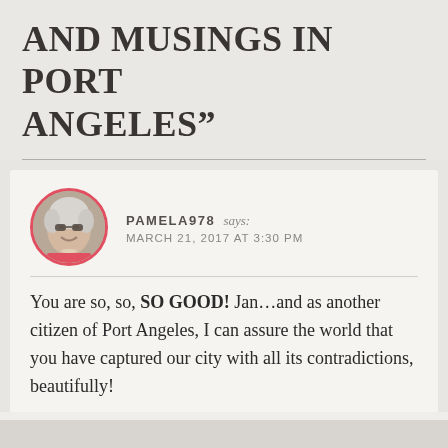AND MUSINGS IN PORT ANGELES”
PAMELA978 says: MARCH 21, 2017 AT 3:30 PM
You are so, so, SO GOOD! Jan…and as another citizen of Port Angeles, I can assure the world that you have captured our city with all its contradictions, beautifully!
★ Like
↪ Reply